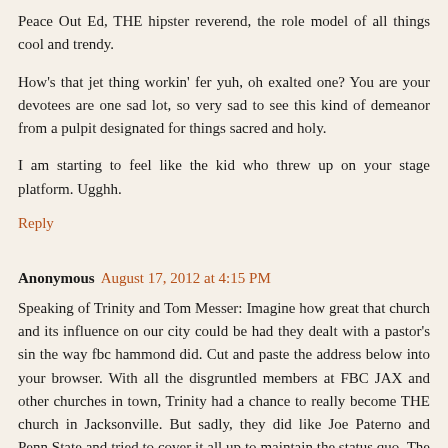Peace Out Ed, THE hipster reverend, the role model of all things cool and trendy.
How's that jet thing workin' fer yuh, oh exalted one? You are your devotees are one sad lot, so very sad to see this kind of demeanor from a pulpit designated for things sacred and holy.
I am starting to feel like the kid who threw up on your stage platform. Ugghh.
Reply
Anonymous August 17, 2012 at 4:15 PM
Speaking of Trinity and Tom Messer: Imagine how great that church and its influence on our city could be had they dealt with a pastor's sin the way fbc hammond did. Cut and paste the address below into your browser. With all the disgruntled members at FBC JAX and other churches in town, Trinity had a chance to really become THE church in Jacksonville. But sadly, they did like Joe Paterno and Penn State and tried to cover it all up to maintain the status quo. The culture and climate at Trinity